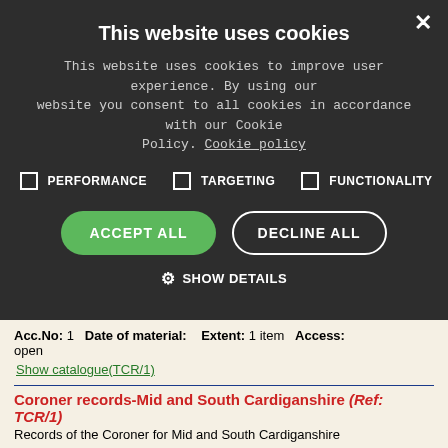This website uses cookies
This website uses cookies to improve user experience. By using our website you consent to all cookies in accordance with our Cookie Policy. Cookie policy
PERFORMANCE
TARGETING
FUNCTIONALITY
ACCEPT ALL   DECLINE ALL
SHOW DETAILS
Acc.No: 1   Date of material:   Extent: 1 item   Access: open
Show catalogue(TCR/1)
Coroner records-Mid and South Cardiganshire (Ref: TCR/1)
Records of the Coroner for Mid and South Cardiganshire
Acc.No: 1   Date of material: 1946-1974   Extent: